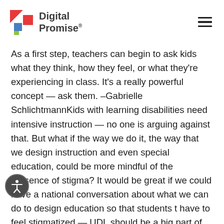Digital Promise
As a first step, teachers can begin to ask kids what they think, how they feel, or what they're experiencing in class. It's a really powerful concept — ask them. –Gabrielle SchlichtmannKids with learning disabilities need intensive instruction — no one is arguing against that. But what if the way we do it, the way that we design instruction and even special education, could be more mindful of the presence of stigma? It would be great if we could have a national conversation about what we can do to design education so that students don't have to feel stigmatized — UDL should be a big part of this conversation.